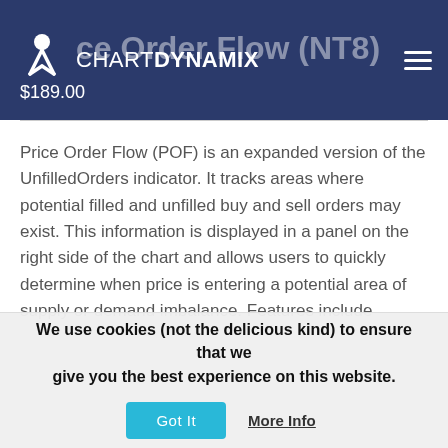CHART DYNAMIX
Price Order Flow (NT8)
$189.00
Price Order Flow (POF) is an expanded version of the UnfilledOrders indicator.  It tracks areas where potential filled and unfilled buy and sell orders may exist. This information is displayed in a panel on the right side of the chart and allows users to quickly determine when price is entering a potential area of supply or demand imbalance.  Features include custom panel styling, width, and a unique historical mode to
We use cookies (not the delicious kind) to ensure that we give you the best experience on this website.
Got It
More Info